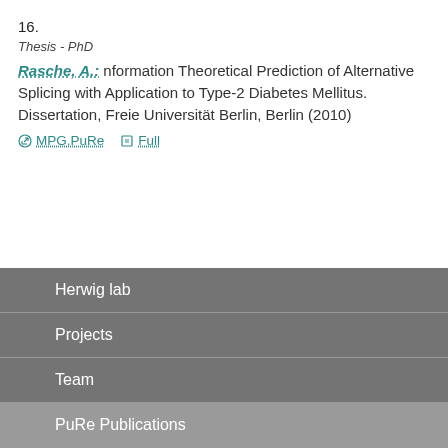16.
Thesis - PhD
Rasche, A.: nformation Theoretical Prediction of Alternative Splicing with Application to Type-2 Diabetes Mellitus. Dissertation, Freie Universität Berlin, Berlin (2010)
MPG.PuRe   Full
Herwig lab
Projects
Team
PuRe Publications